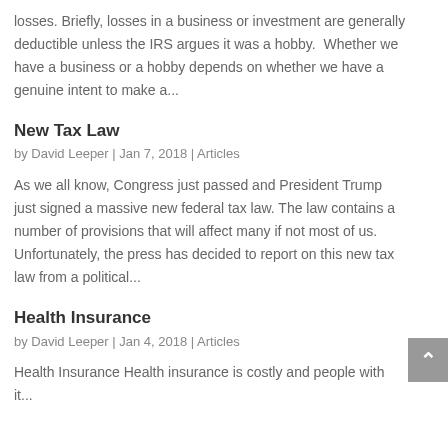losses. Briefly, losses in a business or investment are generally deductible unless the IRS argues it was a hobby.  Whether we have a business or a hobby depends on whether we have a genuine intent to make a...
New Tax Law
by David Leeper | Jan 7, 2018 | Articles
As we all know, Congress just passed and President Trump just signed a massive new federal tax law. The law contains a number of provisions that will affect many if not most of us. Unfortunately, the press has decided to report on this new tax law from a political...
Health Insurance
by David Leeper | Jan 4, 2018 | Articles
Health Insurance Health insurance is costly and people with it...